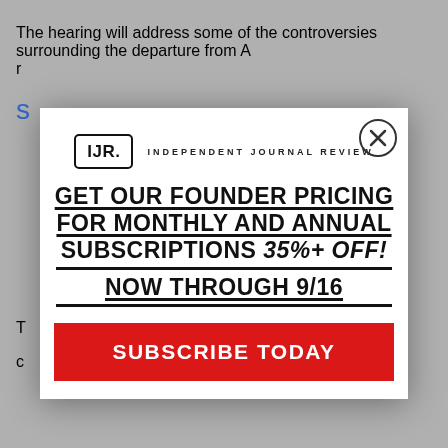The hearing will address some of the controversies surrounding the departure from A... r...
[Figure (screenshot): Modal popup advertisement for Independent Journal Review subscription. Contains IJR logo, promotional text 'GET OUR FOUNDER PRICING FOR MONTHLY AND ANNUAL SUBSCRIPTIONS 35%+ OFF! NOW THROUGH 9/16', and a red 'SUBSCRIBE TODAY' button. Close (X) button in top right corner.]